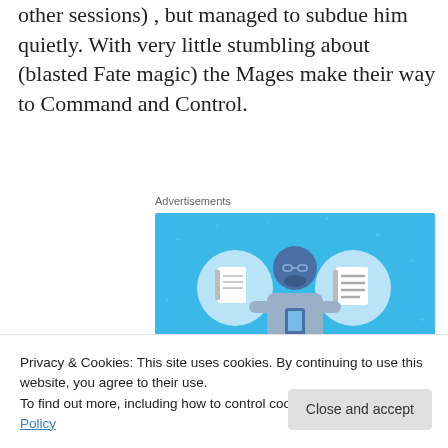other sessions) , but managed to subdue him quietly. With very little stumbling about (blasted Fate magic) the Mages make their way to Command and Control.
Advertisements
[Figure (illustration): Day One journaling app advertisement on a blue background. Shows a cartoon person holding a phone with two circular icons depicting notebooks on either side. Text reads 'DAY ONE' and 'The only journaling app you'll ever need.']
Privacy & Cookies: This site uses cookies. By continuing to use this website, you agree to their use.
To find out more, including how to control cookies, see here: Cookie Policy